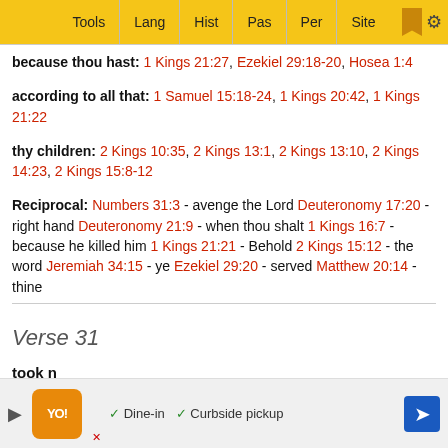Tools | Lang | Hist | Pas | Per | Site
because thou hast: 1 Kings 21:27, Ezekiel 29:18-20, Hosea 1:4
according to all that: 1 Samuel 15:18-24, 1 Kings 20:42, 1 Kings 21:22
thy children: 2 Kings 10:35, 2 Kings 13:1, 2 Kings 13:10, 2 Kings 14:23, 2 Kings 15:8-12
Reciprocal: Numbers 31:3 - avenge the Lord Deuteronomy 17:20 - right hand Deuteronomy 21:9 - when thou shalt 1 Kings 16:7 - because he killed him 1 Kings 21:21 - Behold 2 Kings 15:12 - the word Jeremiah 34:15 - ye Ezekiel 29:20 - served Matthew 20:14 - thine
Verse 31
took n...
[Figure (screenshot): Advertisement banner showing logo, play button, Dine-in and Curbside pickup options with navigation arrow]